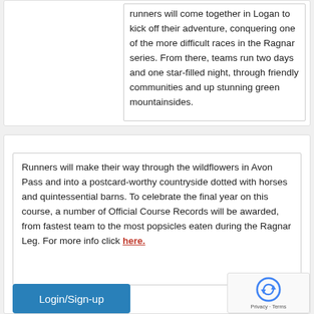runners will come together in Logan to kick off their adventure, conquering one of the more difficult races in the Ragnar series. From there, teams run two days and one star-filled night, through friendly communities and up stunning green mountainsides.
Runners will make their way through the wildflowers in Avon Pass and into a postcard-worthy countryside dotted with horses and quintessential barns. To celebrate the final year on this course, a number of Official Course Records will be awarded, from fastest team to the most popsicles eaten during the Ragnar Leg. For more info click here.